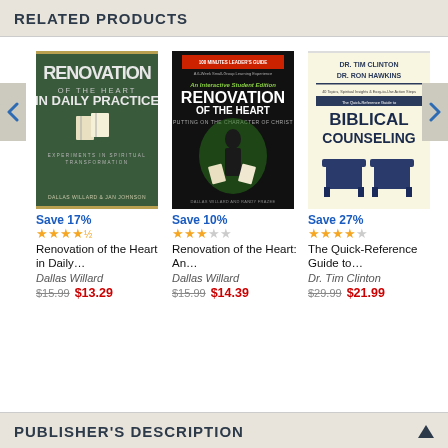RELATED PRODUCTS
[Figure (illustration): Book cover: Renovation of the Heart in Daily Practice by Dallas Willard & Jan Johnson, dark green cover]
Save 17%
★★★★½
Renovation of the Heart in Daily…
Dallas Willard
$15.99  $13.29
[Figure (illustration): Book cover: Renovation of the Heart: An Interactive Student Edition Leader's Guide by Dallas Willard and Randy Frazee, dark cover with green silhouette]
Save 10%
★★★☆☆
Renovation of the Heart: An…
Dallas Willard
$15.99  $14.39
[Figure (illustration): Book cover: The Quick-Reference Guide to Biblical Counseling by Dr. Tim Clinton and Dr. Ron Hawkins, light yellow cover with two blue chairs]
Save 27%
★★★★☆
The Quick-Reference Guide to…
Dr. Tim Clinton
$29.99  $21.99
PUBLISHER'S DESCRIPTION